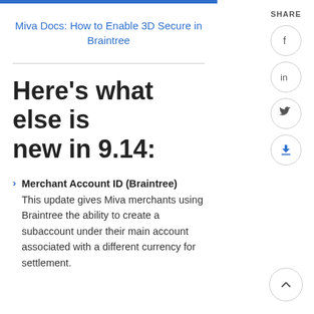Miva Docs: How to Enable 3D Secure in Braintree
Here's what else is new in 9.14:
Merchant Account ID (Braintree)
This update gives Miva merchants using Braintree the ability to create a subaccount under their main account associated with a different currency for settlement.